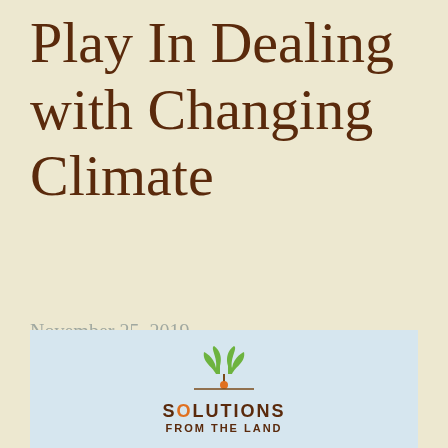Play In Dealing with Changing Climate
November 25, 2019
News
[Figure (logo): Solutions From The Land logo — a green seedling sprout above a horizontal brown line, with text 'SOLUTIONS FROM THE LAND' below in brown on a light blue background]